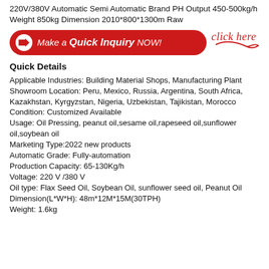220V/380V Automatic Semi Automatic Brand PH Output 450-500kg/h Weight 850kg Dimension 2010*800*1300m Raw
[Figure (infographic): Red rounded button with arrow icon saying 'Make a Quick Inquiry NOW!' and a red cursive 'click here' with underline curl to the right]
Quick Details
Applicable Industries: Building Material Shops, Manufacturing Plant Showroom Location: Peru, Mexico, Russia, Argentina, South Africa, Kazakhstan, Kyrgyzstan, Nigeria, Uzbekistan, Tajikistan, Morocco Condition: Customized Available Usage: Oil Pressing, peanut oil,sesame oil,rapeseed oil,sunflower oil,soybean oil Marketing Type:2022 new products Automatic Grade: Fully-automation Production Capacity: 65-130Kg/h Voltage: 220 V /380 V Oil type: Flax Seed Oil, Soybean Oil, sunflower seed oil, Peanut Oil Dimension(L*W*H): 48m*12M*15M(30TPH) Weight: 1.6kg